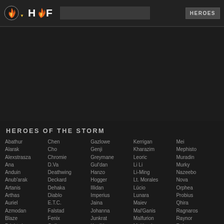HOF | HEROES
HEROES OF THE STORM
Abathur, Alarak, Alexstrasza, Ana, Anduin, Anub'arak, Artanis, Arthas, Auriel, Azmodan, Blaze, Brightwing
Chen, Cho, Chromie, D.Va, Deathwing, Deckard, Dehaka, Diablo, E.T.C., Falstad, Fenix, Gall
Gazlowe, Genji, Greymane, Gul'dan, Hanzo, Hogger, Illidan, Imperius, Jaina, Johanna, Junkrat, Kael'thas
Kerrigan, Kharazim, Leoric, Li Li, Li-Ming, Lt. Morales, Lúcio, Lunara, Maiev, Mal'Ganis, Malfurion, Malthael
Mei, Mephisto, Muradin, Murky, Nazeebo, Nova, Orphea, Probius, Qhira, Ragnaros, Raynor, Rehgar